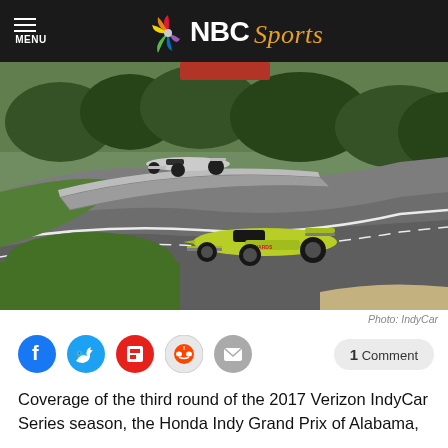NBC Sports
[Figure (photo): IndyCar racing scene at a road course. A bright yellow-green Menards IndyCar is in the foreground navigating a banked turn on a dark asphalt track, with green grass and trees in the background. A second white IndyCar is visible further back on the track.]
Photo: IndyCar
Coverage of the third round of the 2017 Verizon IndyCar Series season, the Honda Indy Grand Prix of Alabama,